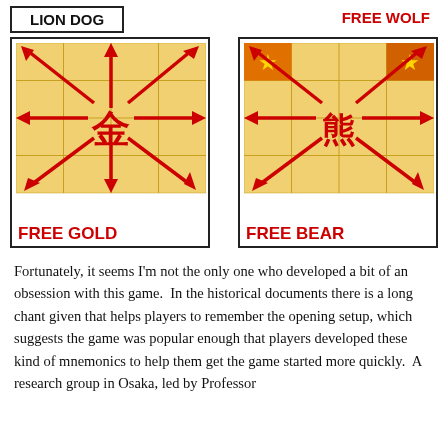[Figure (illustration): LION DOG label box (top-left)]
[Figure (illustration): FREE WOLF label (top-right, red text)]
[Figure (illustration): FREE GOLD movement diagram: 4x4 gold grid with red arrows pointing in 8 directions from center (kanji 金), labeled FREE GOLD]
[Figure (illustration): FREE BEAR movement diagram: 4x4 gold grid with red arrows pointing diagonally and horizontally from center (kanji 熊), two star icons in top corners, labeled FREE BEAR]
Fortunately, it seems I'm not the only one who developed a bit of an obsession with this game.  In the historical documents there is a long chant given that helps players to remember the opening setup, which suggests the game was popular enough that players developed these kind of mnemonics to help them get the game started more quickly.  A research group in Osaka, led by Professor